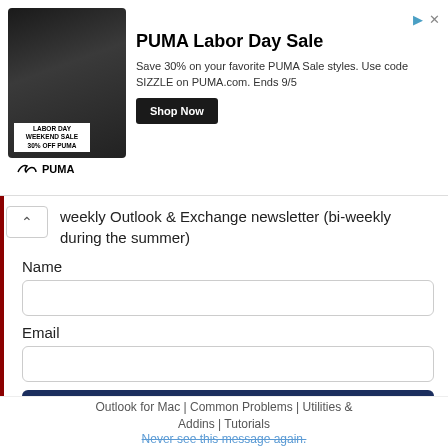[Figure (screenshot): PUMA Labor Day Sale advertisement banner with dark image on left showing athlete, PUMA logo, and ad content on right with 'Shop Now' button]
weekly Outlook & Exchange newsletter (bi-weekly during the summer)
Name
Email
SUBMIT
Please note: If you subscribed to Exchange Messaging Outlook before August 2019, please re-subscribe.
Outlook for Mac | Common Problems | Utilities & Addins | Tutorials
Never see this message again.